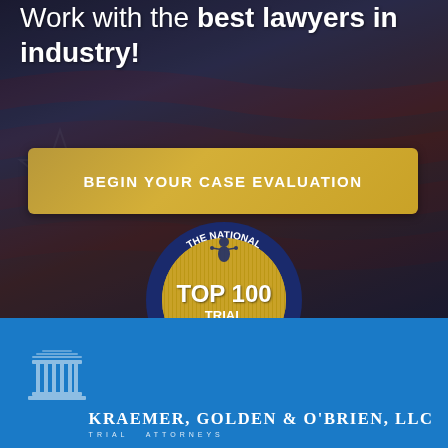Work with the best lawyers in industry!
BEGIN YOUR CASE EVALUATION
[Figure (logo): The National Trial Lawyers Top 100 Trial Lawyers badge/seal - circular gold and blue emblem with figure of justice]
[Figure (logo): Kraemer, Golden & O'Brien, LLC Trial Attorneys logo with courthouse columns icon]